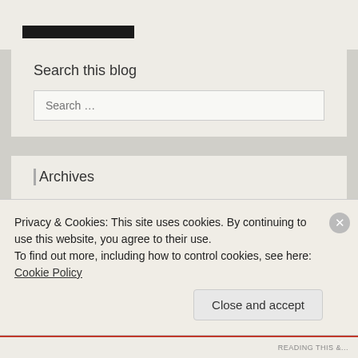[Figure (screenshot): Top portion of a blog sidebar widget showing a dark/black bar, partially cropped]
Search this blog
Search …
Archives
June 2016
May 2015
Privacy & Cookies: This site uses cookies. By continuing to use this website, you agree to their use.
To find out more, including how to control cookies, see here: Cookie Policy
Close and accept
READING THIS &...